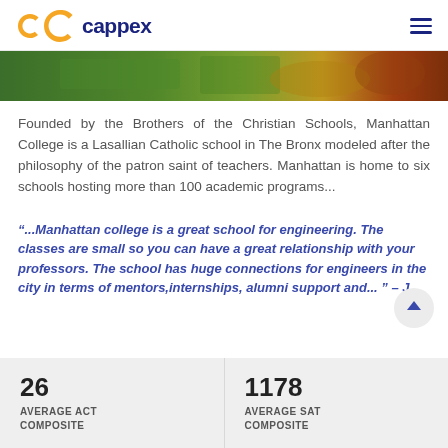cappex
[Figure (photo): Outdoor campus photo showing green grass and autumn leaves]
Founded by the Brothers of the Christian Schools, Manhattan College is a Lasallian Catholic school in The Bronx modeled after the philosophy of the patron saint of teachers. Manhattan is home to six schools hosting more than 100 academic programs...
“...Manhattan college is a great school for engineering. The classes are small so you can have a great relationship with your professors. The school has huge connections for engineers in the city in terms of mentors,internships, alumni support and... ” – J
| AVERAGE ACT COMPOSITE | AVERAGE SAT COMPOSITE |
| --- | --- |
| 26 | 1178 |